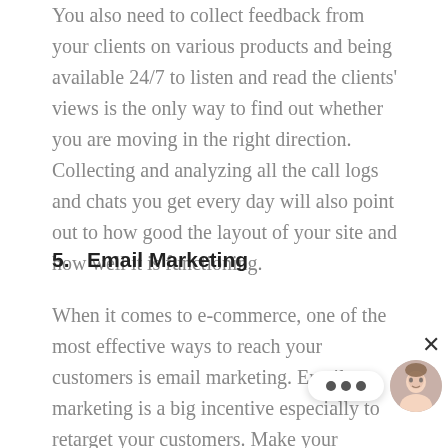You also need to collect feedback from your clients on various products and being available 24/7 to listen and read the clients' views is the only way to find out whether you are moving in the right direction. Collecting and analyzing all the call logs and chats you get every day will also point out to how good the layout of your site and how well it is functioning.
5.   Email Marketing
When it comes to e-commerce, one of the most effective ways to reach your customers is email marketing. Email marketing is a big incentive especially to retarget your customers. Make your